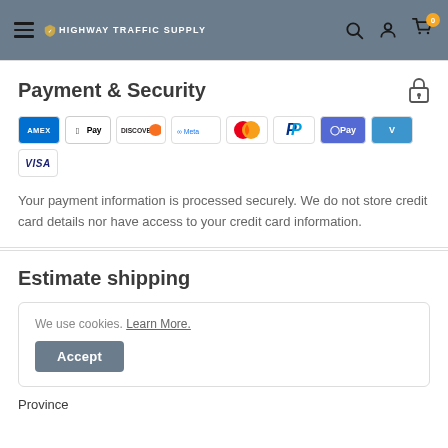Highway Traffic Supply — navigation header with hamburger menu, logo, search, account, and cart icons
Payment & Security
[Figure (other): Payment method logos: American Express, Apple Pay, Discover, Meta Pay, Mastercard, PayPal, Google Pay, Venmo, Visa]
Your payment information is processed securely. We do not store credit card details nor have access to your credit card information.
Estimate shipping
We use cookies. Learn More.
Accept
Province